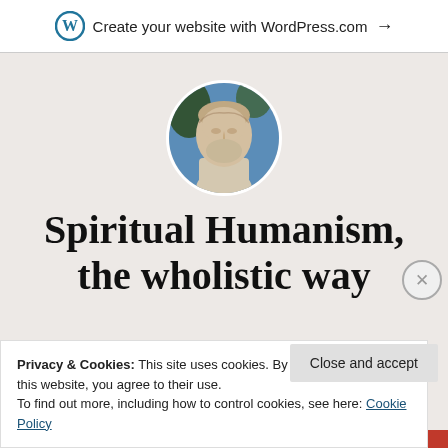Create your website with WordPress.com →
[Figure (photo): Circular cropped photo of a classical Greek/Roman bust sculpture (Aristotle) against a blue sky background]
Spiritual Humanism, the wholistic way
holistic and natural medicine, massage, bodywork,
Privacy & Cookies: This site uses cookies. By continuing to use this website, you agree to their use.
To find out more, including how to control cookies, see here: Cookie Policy
Close and accept